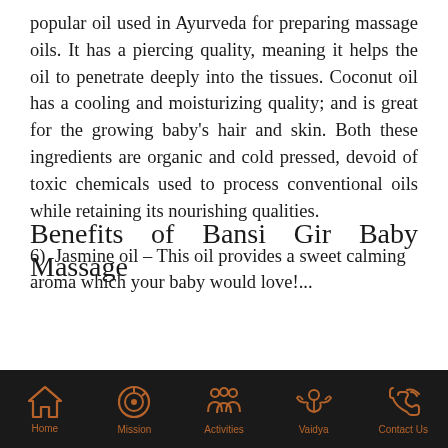popular oil used in Ayurveda for preparing massage oils. It has a piercing quality, meaning it helps the oil to penetrate deeply into the tissues. Coconut oil has a cooling and moisturizing quality; and is great for the growing baby's hair and skin. Both these ingredients are organic and cold pressed, devoid of toxic chemicals used to process conventional oils while retaining its nourishing qualities.
6)  Jasmine oil – This oil provides a sweet calming aroma which your baby would love!...
Benefits of Bansi Gir Baby Massage
Home  Mission  Activities  Vaidya  Contact Us